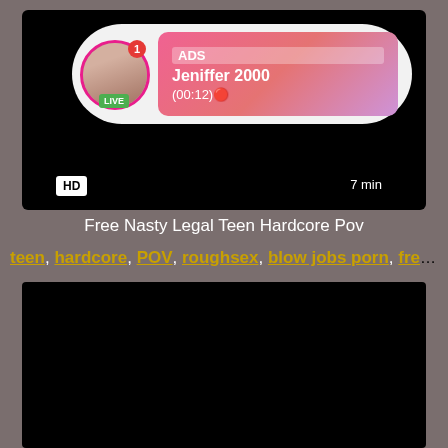[Figure (screenshot): Video thumbnail block with dark/black background, HD badge bottom-left, 7 min duration badge bottom-right, and an ad overlay showing a live user profile with avatar, LIVE badge, ADS label, name Jeniffer 2000, and timer (00:12)]
Free Nasty Legal Teen Hardcore Pov
teen, hardcore, POV, roughsex, blow jobs porn, free 18 ye...
[Figure (screenshot): Second video thumbnail block with dark/black background]